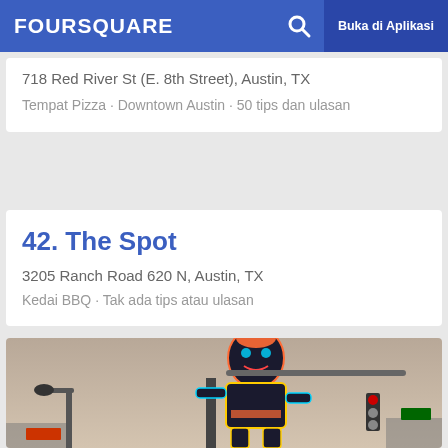FOURSQUARE   Buka di Aplikasi
718 Red River St (E. 8th Street), Austin, TX
Tempat Pizza · Downtown Austin · 50 tips dan ulasan
42. The Spot
3205 Ranch Road 620 N, Austin, TX
Kedai BBQ · Tak ada tips atau ulasan
[Figure (photo): Outdoor photo showing a neon sign of a cartoon robot/character figure on a pole, with a street light, traffic lights, and a pinkish-gray dusk sky in the background. Urban Austin streetscape.]